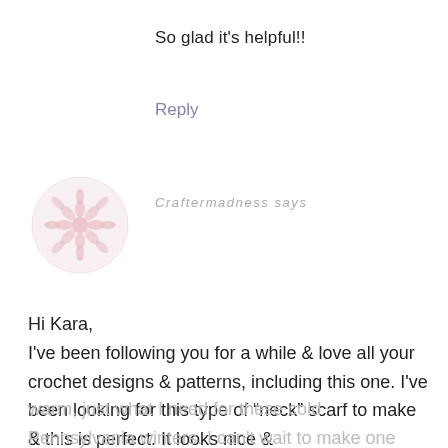So glad it's helpful!!
Reply
[Figure (illustration): Pink floral mandala avatar icon for user Craftermadness]
Craftermadness says
Hi Kara,
I've been following you for a while & love all your crochet designs & patterns, including this one. I've been looking for this type of “neck” scarf to make & this is perfect. It looks nice &
warm, just what I need for these cold Pennsylvania winters. I can't wait to make one